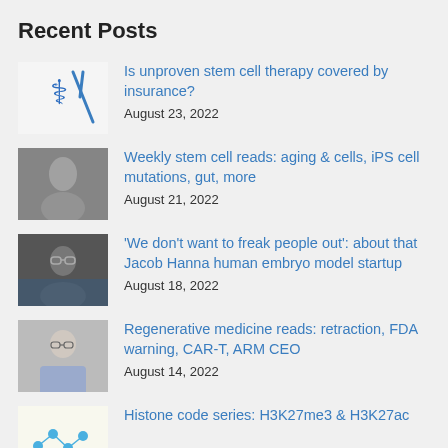Recent Posts
Is unproven stem cell therapy covered by insurance? | August 23, 2022
Weekly stem cell reads: aging & cells, iPS cell mutations, gut, more | August 21, 2022
'We don't want to freak people out': about that Jacob Hanna human embryo model startup | August 18, 2022
Regenerative medicine reads: retraction, FDA warning, CAR-T, ARM CEO | August 14, 2022
Histone code series: H3K27me3 & H3K27ac